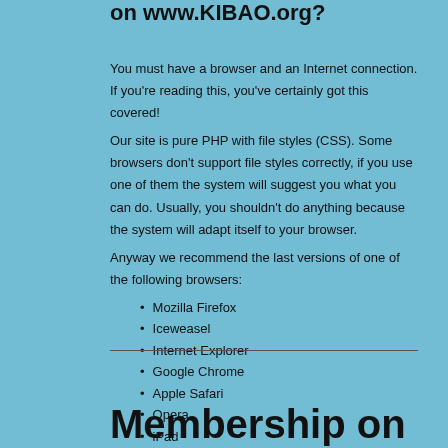on www.KIBAO.org?
You must have a browser and an Internet connection. If you're reading this, you've certainly got this covered!
Our site is pure PHP with file styles (CSS). Some browsers don't support file styles correctly, if you use one of them the system will suggest you what you can do. Usually, you shouldn't do anything because the system will adapt itself to your browser.
Anyway we recommend the last versions of one of the following browsers:
Mozilla Firefox
Iceweasel
Internet Explorer
Google Chrome
Apple Safari
Opera
iPad
Netscape
Top
Membership on